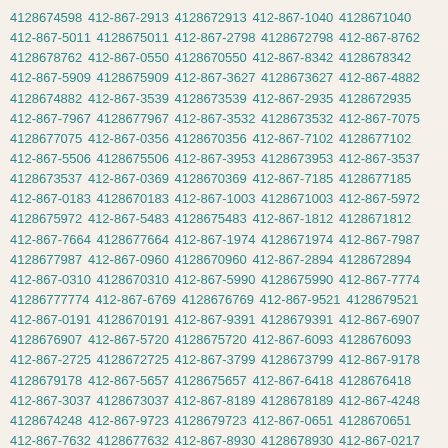4128674598 412-867-2913 4128672913 412-867-1040 4128671040 412-867-5011 4128675011 412-867-2798 4128672798 412-867-8762 4128678762 412-867-0550 4128670550 412-867-8342 4128678342 412-867-5909 4128675909 412-867-3627 4128673627 412-867-4882 4128674882 412-867-3539 4128673539 412-867-2935 4128672935 412-867-7967 4128677967 412-867-3532 4128673532 412-867-7075 4128677075 412-867-0356 4128670356 412-867-7102 4128677102 412-867-5506 4128675506 412-867-3953 4128673953 412-867-3537 4128673537 412-867-0369 4128670369 412-867-7185 4128677185 412-867-0183 4128670183 412-867-1003 4128671003 412-867-5972 4128675972 412-867-5483 4128675483 412-867-1812 4128671812 412-867-7664 4128677664 412-867-1974 4128671974 412-867-7987 4128677987 412-867-0960 4128670960 412-867-2894 4128672894 412-867-0310 4128670310 412-867-5990 4128675990 412-867-7774 41286777774 412-867-6769 4128676769 412-867-9521 4128679521 412-867-0191 4128670191 412-867-9391 4128679391 412-867-6907 4128676907 412-867-5720 4128675720 412-867-6093 4128676093 412-867-2725 4128672725 412-867-3799 4128673799 412-867-9178 4128679178 412-867-5657 4128675657 412-867-6418 4128676418 412-867-3037 4128673037 412-867-8189 4128678189 412-867-4248 4128674248 412-867-9723 4128679723 412-867-0651 4128670651 412-867-7632 4128677632 412-867-8930 4128678930 412-867-0217 4128670217 412-867-1349 4128671349 412-867-3624 4128673624 412-867-5864 4128675864 412-867-2854 4128672854 412-867-1164 4128671164 412-867-7849 4128677849 412-867-8031 4128678031 412-867-8384 4128678384 412-867-1888 4128671888 412-867-2832 4128672832 412-867-3934 4128673934 412-867-0086 4128670086 412-